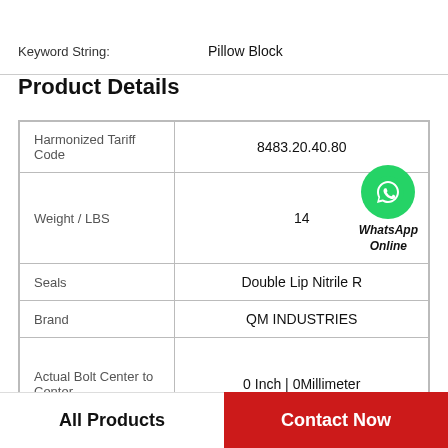Keyword String: Pillow Block
Product Details
|  |  |
| --- | --- |
| Harmonized Tariff Code | 8483.20.40.80 |
| Weight / LBS | 14 |
| Seals | Double Lip Nitrile R |
| Brand | QM INDUSTRIES |
| Actual Bolt Center to Center | 0 Inch | 0Millimeter |
All Products | Contact Now